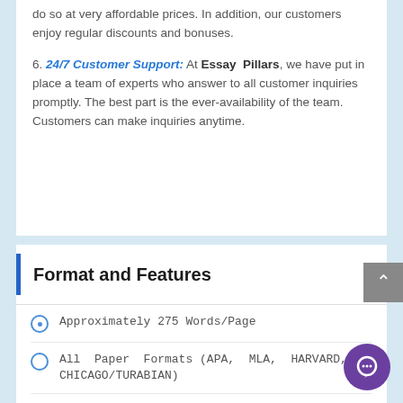do so at very affordable prices. In addition, our customers enjoy regular discounts and bonuses.
6. 24/7 Customer Support: At Essay Pillars, we have put in place a team of experts who answer to all customer inquiries promptly. The best part is the ever-availability of the team. Customers can make inquiries anytime.
Format and Features
Approximately 275 Words/Page
All Paper Formats (APA, MLA, HARVARD, CHICAGO/TURABIAN)
Font 12 pt. Arial/ Times New Roman